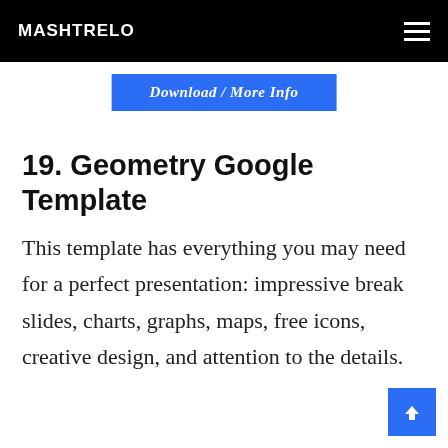MASHTRELO
Download / More Info
19. Geometry Google Template
This template has everything you may need for a perfect presentation: impressive break slides, charts, graphs, maps, free icons, creative design, and attention to the details.